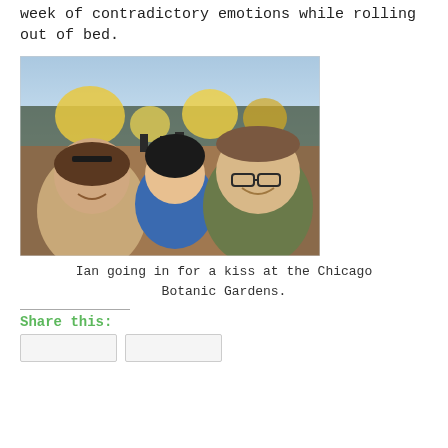week of contradictory emotions while rolling out of bed.
[Figure (photo): A selfie of a family — a woman with sunglasses on her head, a young child in a blue jacket and black beanie, and a man wearing a cap and glasses — at the Chicago Botanic Gardens at dusk with illuminated trees in the background.]
Ian going in for a kiss at the Chicago Botanic Gardens.
Share this: